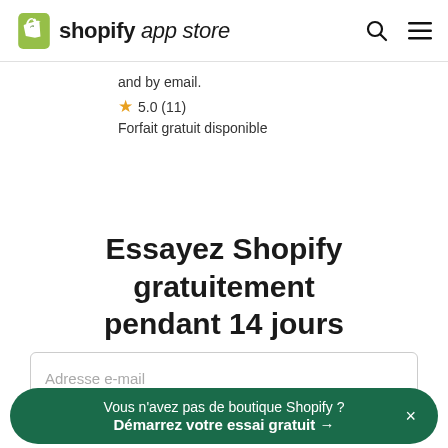shopify app store
and by email.
★ 5.0 (11)
Forfait gratuit disponible
Essayez Shopify gratuitement pendant 14 jours
Adresse e-mail
Vous n'avez pas de boutique Shopify ? Démarrez votre essai gratuit →